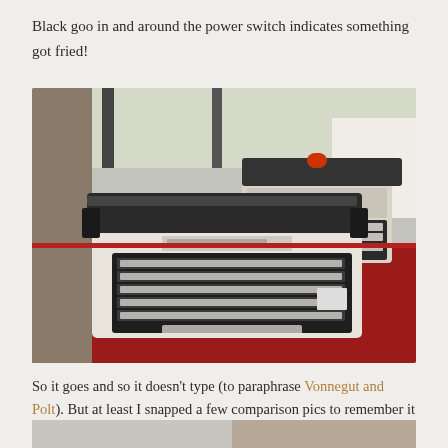Black goo in and around the power switch indicates something got fried!
[Figure (photo): Two vintage electric typewriters sitting side by side on a red surface in front of a window. The foreground typewriter is white and black with a full keyboard visible. A second similar typewriter sits behind it to the right.]
So it goes and so it doesn't type (to paraphrase Vonnegut and Polt). But at least I snapped a few comparison pics to remember it by before I take it apart.
[Figure (photo): Bottom portion of another comparison photo, partially visible at the bottom of the page.]